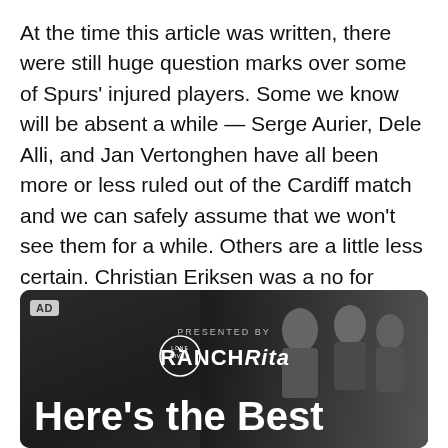At the time this article was written, there were still huge question marks over some of Spurs' injured players. Some we know will be absent a while — Serge Aurier, Dele Alli, and Jan Vertonghen have all been more or less ruled out of the Cardiff match and we can safely assume that we won't see them for a while. Others are a little less certain. Christian Eriksen was a no for Barça, but there have been rumors he might be ready for a return against the Bluebirds. We also don't know anything about Mousa Dembele.
[Figure (other): Advertisement banner: 'PRESENTED BY RANCH Rita' with a dark background showing people in the background, an AD label in the top left corner, a circular Lone River logo, and large white bold text reading 'Here's the Best' at the bottom.]